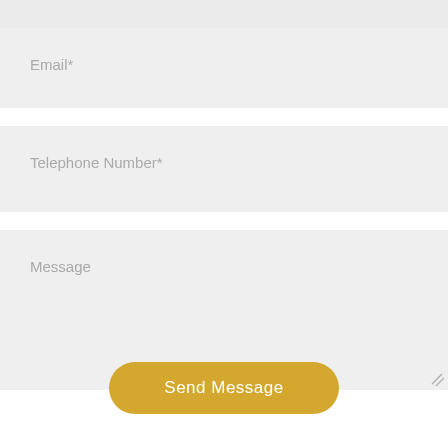Email*
Telephone Number*
Message
Send Message